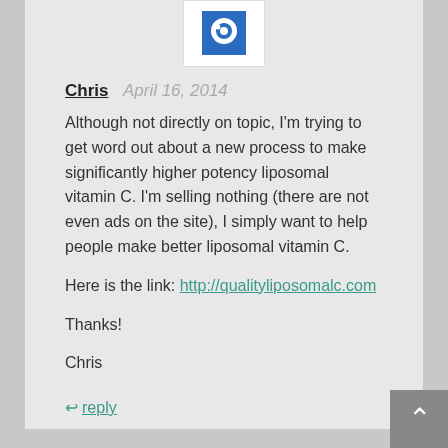[Figure (logo): Blue circular icon/avatar on white background, partially visible at top]
Chris  April 16, 2014
Although not directly on topic, I'm trying to get word out about a new process to make significantly higher potency liposomal vitamin C. I'm selling nothing (there are not even ads on the site), I simply want to help people make better liposomal vitamin C.

Here is the link: http://qualityliposomalc.com

Thanks!

Chris
↩ reply